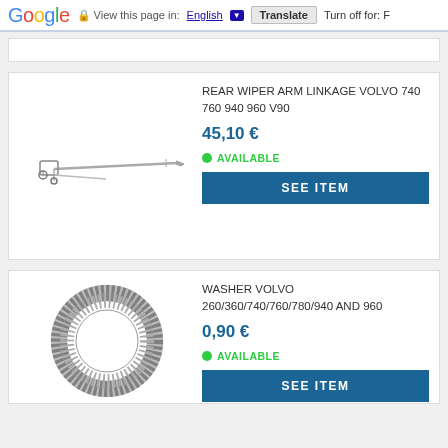Google | View this page in: English | Translate | Turn off for: F
[Figure (screenshot): Partial product card placeholder at top]
[Figure (photo): Rear wiper arm linkage product image - a metal wiper arm linkage mechanism]
REAR WIPER ARM LINKAGE VOLVO 740 760 940 960 V90
45,10 €
AVAILABLE
SEE ITEM
[Figure (photo): Washer/ring product image - circular rubber or metal washer]
WASHER VOLVO 260/360/740/760/780/940 AND 960
0,90 €
AVAILABLE
SEE ITEM